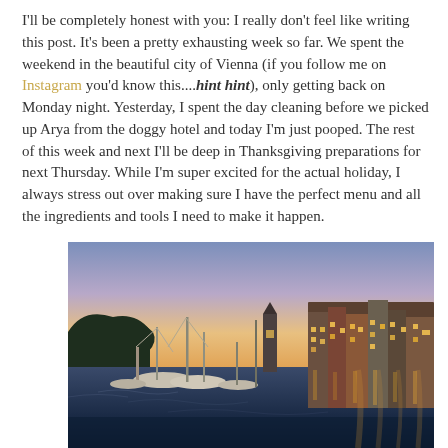I'll be completely honest with you: I really don't feel like writing this post. It's been a pretty exhausting week so far. We spent the weekend in the beautiful city of Vienna (if you follow me on Instagram you'd know this....hint hint), only getting back on Monday night. Yesterday, I spent the day cleaning before we picked up Arya from the doggy hotel and today I'm just pooped. The rest of this week and next I'll be deep in Thanksgiving preparations for next Thursday. While I'm super excited for the actual holiday, I always stress out over making sure I have the perfect menu and all the ingredients and tools I need to make it happen.
[Figure (photo): A harbor scene at dusk/twilight with sailboat masts in the foreground on the left, calm reflective water, and a row of colorful historic buildings with warm glowing lights on the right side. Soft pink and blue sky in the background.]